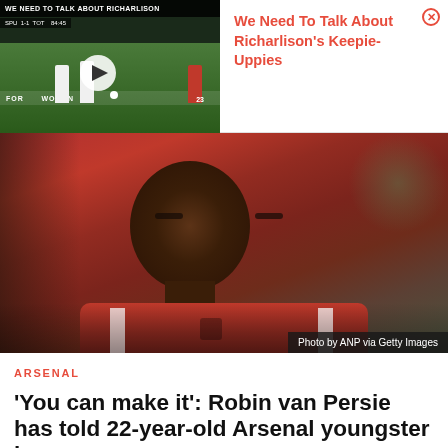[Figure (screenshot): Video thumbnail showing football match, title bar reads 'WE NEED TO TALK ABOUT RICHARLISON', players on green pitch]
We Need To Talk About Richarlison's Keepie-Uppies
[Figure (photo): Photo of a young footballer in a red and white Feyenoord kit, looking focused. Credit: Photo by ANP via Getty Images]
Photo by ANP via Getty Images
ARSENAL
'You can make it': Robin van Persie has told 22-year-old Arsenal youngster he can